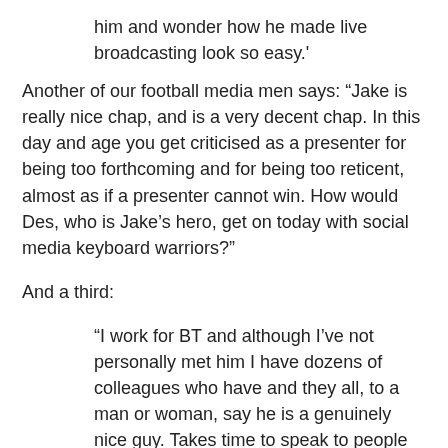him and wonder how he made live broadcasting look so easy.'
Another of our football media men says: “Jake is really nice chap, and is a very decent chap. In this day and age you get criticised as a presenter for being too forthcoming and for being too reticent, almost as if a presenter cannot win. How would Des, who is Jake’s hero, get on today with social media keyboard warriors?”
And a third:
“I work for BT and although I’ve not personally met him I have dozens of colleagues who have and they all, to a man or woman, say he is a genuinely nice guy. Takes time to speak to people & takes an interest in them.”
We should all wish for such respect and praise. Social